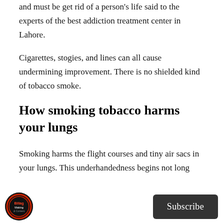and must be get rid of a person's life said to the experts of the best addiction treatment center in Lahore.
Cigarettes, stogies, and lines can all cause undermining improvement. There is no shielded kind of tobacco smoke.
How smoking tobacco harms your lungs
Smoking harms the flight courses and tiny air sacs in your lungs. This underhandedness begins not long